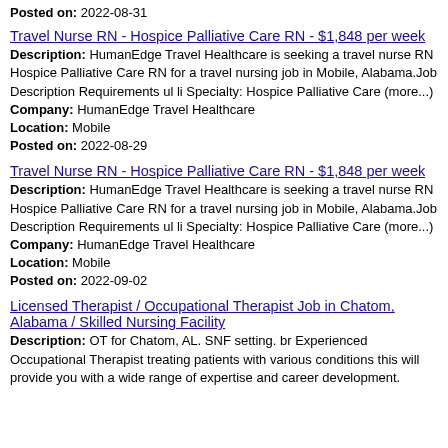Posted on: 2022-08-31
Travel Nurse RN - Hospice Palliative Care RN - $1,848 per week
Description: HumanEdge Travel Healthcare is seeking a travel nurse RN Hospice Palliative Care RN for a travel nursing job in Mobile, Alabama.Job Description Requirements ul li Specialty: Hospice Palliative Care (more...)
Company: HumanEdge Travel Healthcare
Location: Mobile
Posted on: 2022-08-29
Travel Nurse RN - Hospice Palliative Care RN - $1,848 per week
Description: HumanEdge Travel Healthcare is seeking a travel nurse RN Hospice Palliative Care RN for a travel nursing job in Mobile, Alabama.Job Description Requirements ul li Specialty: Hospice Palliative Care (more...)
Company: HumanEdge Travel Healthcare
Location: Mobile
Posted on: 2022-09-02
Licensed Therapist / Occupational Therapist Job in Chatom, Alabama / Skilled Nursing Facility
Description: OT for Chatom, AL. SNF setting. br Experienced Occupational Therapist treating patients with various conditions this will provide you with a wide range of expertise and career development.